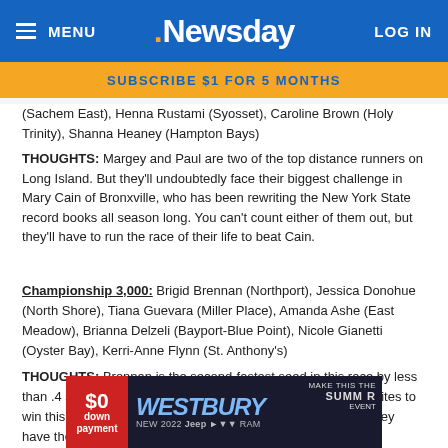MENU | Newsday | LOG IN
SUBSCRIBE $1 FOR 5 MONTHS
(Sachem East), Henna Rustami (Syosset), Caroline Brown (Holy Trinity), Shanna Heaney (Hampton Bays)
THOUGHTS: Margey and Paul are two of the top distance runners on Long Island. But they'll undoubtedly face their biggest challenge in Mary Cain of Bronxville, who has been rewriting the New York State record books all season long. You can't count either of them out, but they'll have to run the race of their life to beat Cain.
Championship 3,000:
Championship 3,000: Brigid Brennan (Northport), Jessica Donohue (North Shore), Tiana Guevara (Miller Place), Amanda Ashe (East Meadow), Brianna Delzeli (Bayport-Blue Point), Nicole Gianetti (Oyster Bay), Kerri-Anne Flynn (St. Anthony's)
THOUGHTS: Brennan is the second-fastest seed in this race by less than .4 seconds, so she has to be considered among the favorites to win this one. Don't count out Donohue or Guevara, though—they have the endurance to make a splash.
[Figure (other): Westbury Jeep advertisement banner: $0 down payment, New 2022 Jeep, Make This The Summer Event]